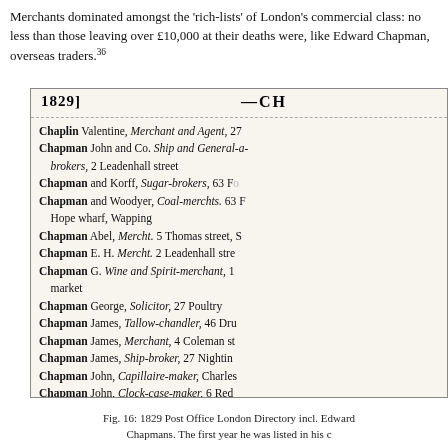Merchants dominated amongst the 'rich-lists' of London's commercial class: no less than those leaving over £10,000 at their deaths were, like Edward Chapman, overseas traders.36
[Figure (illustration): Scanned page from the 1829 Post Office London Directory showing a list of Chapman entries including Chaplin Valentine Merchant and Agent, Chapman John and Co. Ship and General-brokers, Chapman and Korff Sugar-brokers, Chapman and Woodyer Coal-merchts, Chapman Abel Mercht, Chapman E.H. Mercht, Chapman G. Wine and Spirit-merchant, Chapman George Solicitor, Chapman James Tallow-chandler, Chapman James Merchant, Chapman James Ship-broker, Chapman John Capillaire-maker, Chapman John Clock-case-maker, Chapman Jonathan Merchant, Chapman Joseph Tallow-chandler, and Chapman R. Music-seller etc.]
Fig. 16: 1829 Post Office London Directory incl. Edward Chapmans. The first year he was listed in his c...